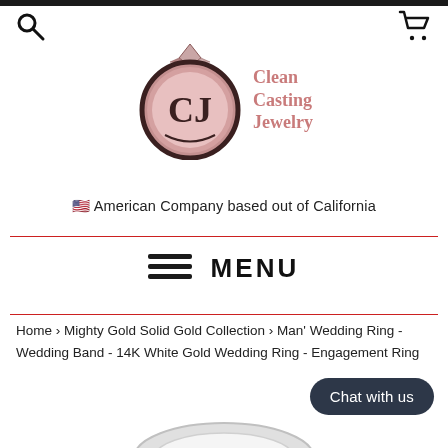[Figure (logo): Clean Casting Jewelry logo — circular rose gold badge with diamond on top and stylized CJ monogram, with brand name 'Clean Casting Jewelry' in rose/pink serif text to the right]
🇺🇸 American Company based out of California
≡ MENU
Home › Mighty Gold Solid Gold Collection › Man' Wedding Ring - Wedding Band - 14K White Gold Wedding Ring - Engagement Ring
Chat with us